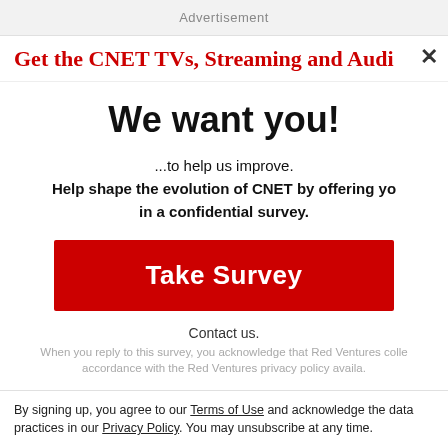Advertisement
Get the CNET TVs, Streaming and Audio
We want you!
...to help us improve. Help shape the evolution of CNET by offering yo in a confidential survey.
Take Survey
Contact us.
When you reply to this survey, you acknowledge that Red Ventures colle accordance with the Red Ventures privacy policy availa.
By signing up, you agree to our Terms of Use and acknowledge the data practices in our Privacy Policy. You may unsubscribe at any time.